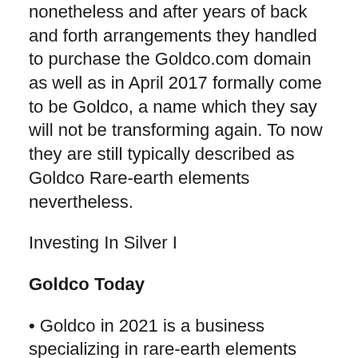nonetheless and after years of back and forth arrangements they handled to purchase the Goldco.com domain as well as in April 2017 formally come to be Goldco, a name which they say will not be transforming again. To now they are still typically described as Goldco Rare-earth elements nevertheless.
Investing In Silver I
Goldco Today
• Goldco in 2021 is a business specializing in rare-earth elements IRAs (Gold IRAs and Silver Individual Retirement Accounts) and in marketing precious metals to non IRA consumers. They are based in Woodlands,